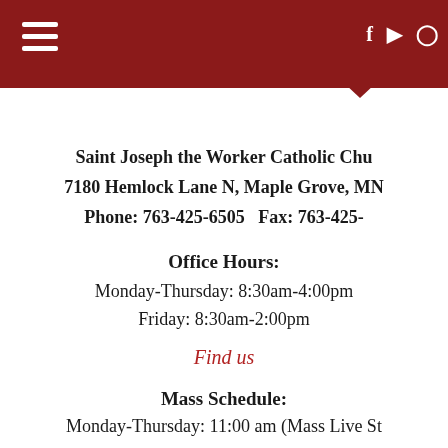Saint Joseph the Worker Catholic Church navigation header with hamburger menu and social icons (Facebook, YouTube, Instagram)
Saint Joseph the Worker Catholic Chu
7180 Hemlock Lane N, Maple Grove, MN
Phone: 763-425-6505   Fax: 763-425-
Office Hours:
Monday-Thursday: 8:30am-4:00pm
Friday: 8:30am-2:00pm
Find us
Mass Schedule:
Monday-Thursday: 11:00 am (Mass Live St
Friday: 6:30 am
Saturday: 5:00 pm (Mass Live Streame